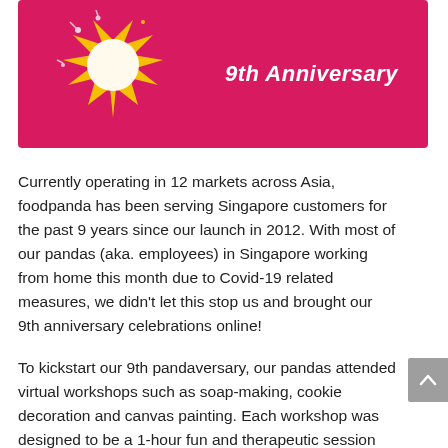[Figure (illustration): foodpanda 9th Anniversary banner: pink/magenta background with a decorative starburst/explosion graphic on the left and bold italic white text '9th Anniversary' on the right]
Currently operating in 12 markets across Asia, foodpanda has been serving Singapore customers for the past 9 years since our launch in 2012. With most of our pandas (aka. employees) in Singapore working from home this month due to Covid-19 related measures, we didn't let this stop us and brought our 9th anniversary celebrations online!
To kickstart our 9th pandaversary, our pandas attended virtual workshops such as soap-making, cookie decoration and canvas painting. Each workshop was designed to be a 1-hour fun and therapeutic session where pandas had the